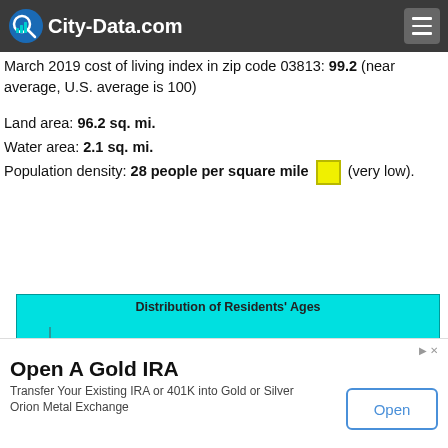City-Data.com
March 2019 cost of living index in zip code 03813: 99.2 (near average, U.S. average is 100)
Land area: 96.2 sq. mi.
Water area: 2.1 sq. mi.
Population density: 28 people per square mile [box] (very low).
[Figure (histogram): Partial histogram showing distribution of residents ages, bars appear tan/brown colored, y-axis partially visible showing values 50 and 60]
Open A Gold IRA
Transfer Your Existing IRA or 401K into Gold or Silver Orion Metal Exchange